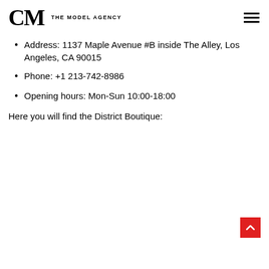CM THE MODEL AGENCY
Address: 1137 Maple Avenue #B inside The Alley, Los Angeles, CA 90015
Phone: +1 213-742-8986
Opening hours: Mon-Sun 10:00-18:00
Here you will find the District Boutique: